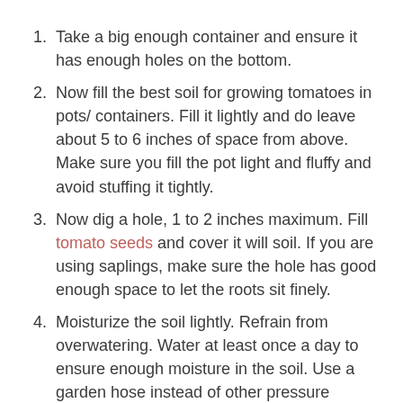Take a big enough container and ensure it has enough holes on the bottom.
Now fill the best soil for growing tomatoes in pots/ containers. Fill it lightly and do leave about 5 to 6 inches of space from above. Make sure you fill the pot light and fluffy and avoid stuffing it tightly.
Now dig a hole, 1 to 2 inches maximum. Fill tomato seeds and cover it will soil. If you are using saplings, make sure the hole has good enough space to let the roots sit finely.
Moisturize the soil lightly. Refrain from overwatering. Water at least once a day to ensure enough moisture in the soil. Use a garden hose instead of other pressure objects.
Provide your tomato plant at least 6-8 hours